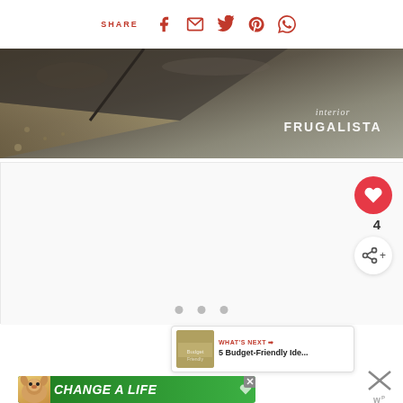SHARE (Facebook, Email, Twitter, Pinterest, WhatsApp icons)
[Figure (photo): Close-up photo of stone/slate tiles with gravel, branded with 'interior FRUGALISTA' logo]
[Figure (photo): Large white content area with carousel showing image slideshow (three dot navigation indicators)]
[Figure (infographic): Like button (heart icon, red circle), count of 4, and share button (share icon, white circle)]
[Figure (infographic): What's Next panel with thumbnail and text '5 Budget-Friendly Ide...']
[Figure (infographic): Green advertisement banner: dog image + 'CHANGE A LIFE' text with close button; right side has X and 'w' logo]